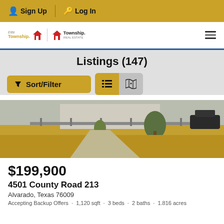Sign Up  Log In
[Figure (logo): Elite Township and Township real estate logos with hamburger menu icon]
Listings (147)
[Figure (screenshot): Sort/Filter button and list/map view toggle buttons]
[Figure (photo): Exterior photo of residential property showing dry grass yard with trees and fence]
$199,900
4501 County Road 213
Alvarado, Texas 76009
Accepting Backup Offers  ·  1,120 sqft  ·  3 beds  ·  2 baths  ·  1.816 acres